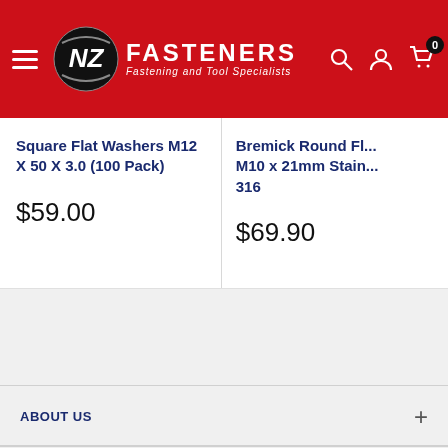NZ FASTENERS – Fastening and Tool Specialists
Square Flat Washers M12 X 50 X 3.0 (100 Pack)
$59.00
Bremick Round Fl... M10 x 21mm Stain... 316
$69.90
ABOUT US
INFORMATION